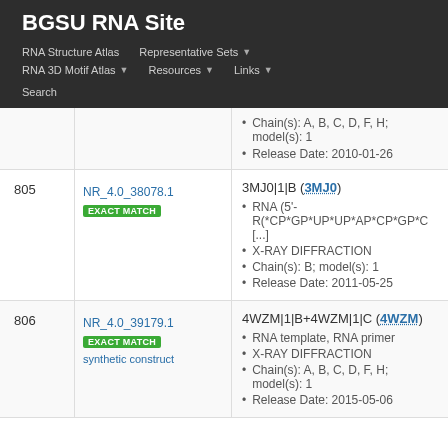BGSU RNA Site
RNA Structure Atlas | Representative Sets | RNA 3D Motif Atlas | Resources | Links | Search
| # | ID | Details |
| --- | --- | --- |
|  |  | Chain(s): A, B, C, D, F, H; model(s): 1 | Release Date: 2010-01-26 |
| 805 | NR_4.0_38078.1 EXACT MATCH | 3MJ0|1|B (3MJ0) • RNA (5'-R(*CP*GP*UP*UP*AP*CP*GP*C [...] • X-RAY DIFFRACTION • Chain(s): B; model(s): 1 • Release Date: 2011-05-25 |
| 806 | NR_4.0_39179.1 EXACT MATCH synthetic construct | 4WZM|1|B+4WZM|1|C (4WZM) • RNA template, RNA primer • X-RAY DIFFRACTION • Chain(s): A, B, C, D, F, H; model(s): 1 • Release Date: 2015-05-06 |